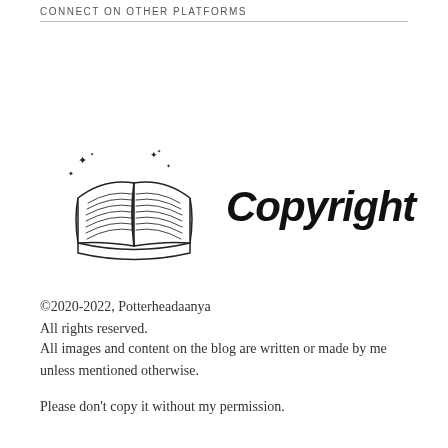CONNECT ON OTHER PLATFORMS
[Figure (illustration): An open book with sparkles/stars around it illustrated in black line art, next to the bold italic text 'Copyright']
©2020-2022, Potterheadaanya
All rights reserved.
All images and content on the blog are written or made by me unless mentioned otherwise.
Please don't copy it without my permission.